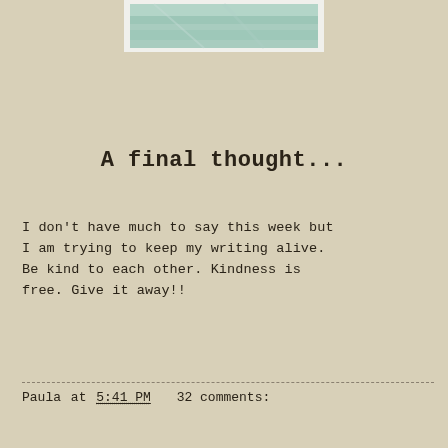[Figure (illustration): Partial view of a framed image with mint/teal green tones, appearing to be a postcard or photograph with a white border, cropped at the top of the page.]
A final thought...
I don't have much to say this week but I am trying to keep my writing alive. Be kind to each other. Kindness is free. Give it away!!
Paula at 5:41 PM    32 comments: